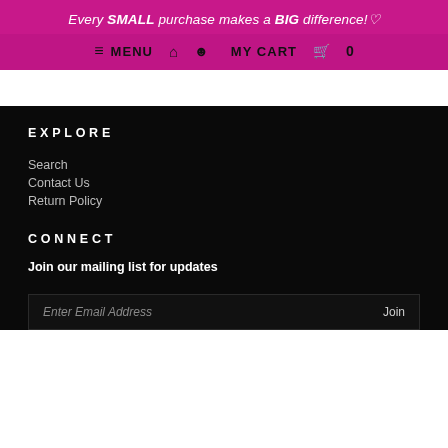Every SMALL purchase makes a BIG difference!♡
≡ MENU  🏠  👤  MY CART  🛒  0
EXPLORE
Search
Contact Us
Return Policy
CONNECT
Join our mailing list for updates
Enter Email Address    Join